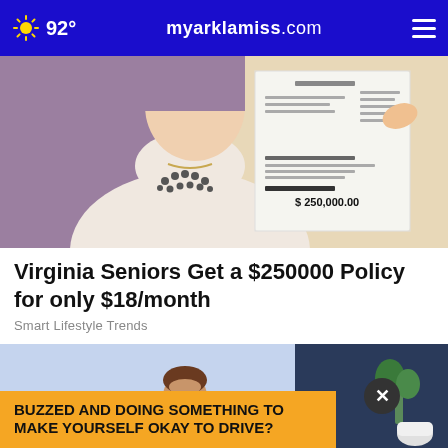92° myarklamiss.com
[Figure (photo): A woman holding up a large medical bill showing $250,000.00 total due]
Virginia Seniors Get a $250000 Policy for only $18/month
Smart Lifestyle Trends
[Figure (illustration): Illustrated person sitting at a table appearing distressed, with an advertisement overlay reading BUZZED AND DOING SOMETHING TO MAKE YOURSELF OKAY TO DRIVE?]